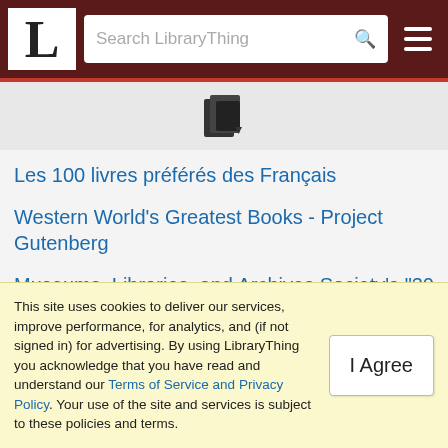L [LibraryThing logo] | Search LibraryThing [search box] | [hamburger menu]
[Figure (illustration): LibraryThing book/document icon with a small downward arrow, on a gray background]
Les 100 livres préférés des Français
Western World's Greatest Books - Project Gutenberg
Museums, Libraries, and Archives Society's "30 Books Every Adult Should Read Before They Die"
(show all 30 items)
Helpers
This site uses cookies to deliver our services, improve performance, for analytics, and (if not signed in) for advertising. By using LibraryThing you acknowledge that you have read and understand our Terms of Service and Privacy Policy. Your use of the site and services is subject to these policies and terms.